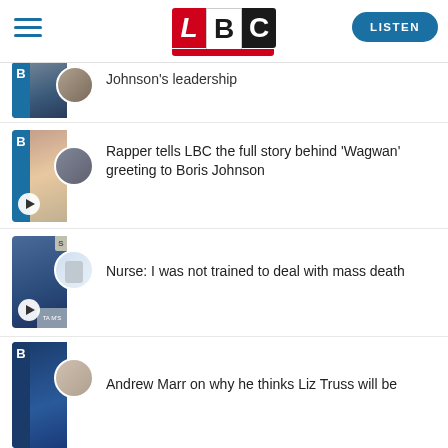[Figure (logo): LBC radio logo with L in red, B in white/grey, C in black, hamburger menu icon on left, LISTEN button on right]
Johnson's leadership
[Figure (photo): Thumbnail of LBC radio presenter with microphone, partial article visible at top]
Rapper tells LBC the full story behind 'Wagwan' greeting to Boris Johnson
[Figure (photo): Thumbnail showing LBC presenter and inset circular image of scene outdoors]
Nurse: I was not trained to deal with mass death
[Figure (photo): Thumbnail showing LBC presenter and inset circular image of medical glove/syringe]
Andrew Marr on why he thinks Liz Truss will be